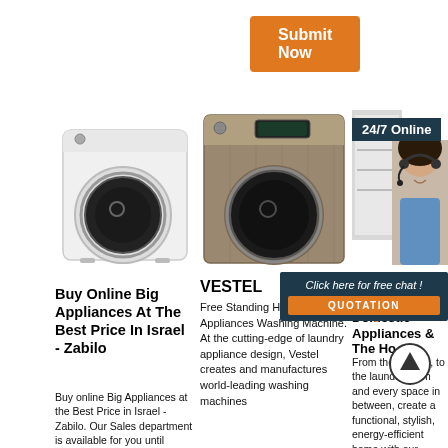[Figure (other): Orange 'Submit Now' button]
[Figure (photo): White front-loading washing machine]
[Figure (photo): Silver/champagne front-loading washing machine (Vestel)]
[Figure (photo): Dishwasher open with dishes, and a woman with headset (24/7 Online customer service)]
Buy Online Big Appliances At The Best Price In Israel - Zabilo
Buy online Big Appliances at the Best Price in Israel - Zabilo. Our Sales department is available for you until 19.45 at the
VESTEL
Free Standing Household Appliances Washing Machine. At the cutting-edge of laundry appliance design, Vestel creates and manufactures world-leading washing machines
Kitchen Appliances, Domestic Appliances & The Ho
From the kitchen, to the laundry room and every space in between, create a functional, stylish, energy-efficient home with our collection of innovative LG
[Figure (other): Chat popup: 'Click here for free chat!' with QUOTATION orange button]